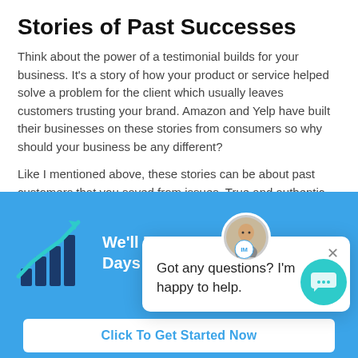Stories of Past Successes
Think about the power of a testimonial builds for your business. It’s a story of how your product or service helped solve a problem for the client which usually leaves customers trusting your brand. Amazon and Yelp have built their businesses on these stories from consumers so why should your business be any different?
Like I mentioned above, these stories can be about past customers that you saved from issues. True and authentic stories can build brand an... they never ever meet the c...
[Figure (infographic): Blue banner with bar/line chart icon in teal/dark blue, and bold white text reading "We'll Do... Days Or Work For Free!"]
[Figure (screenshot): Chat popup widget showing a person avatar, an X close button, and the message "Got any questions? I’m happy to help."]
Click To Get Started Now